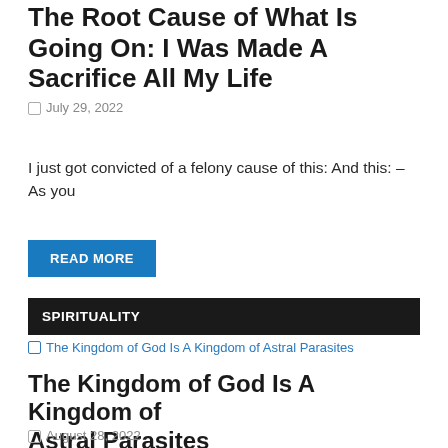The Root Cause of What Is Going On: I Was Made A Sacrifice All My Life
July 29, 2022
I just got convicted of a felony cause of this: And this: – As you
READ MORE
SPIRITUALITY
[Figure (other): Thumbnail image link for 'The Kingdom of God Is A Kingdom of Astral Parasites']
The Kingdom of God Is A Kingdom of Astral Parasites
August 28, 2022